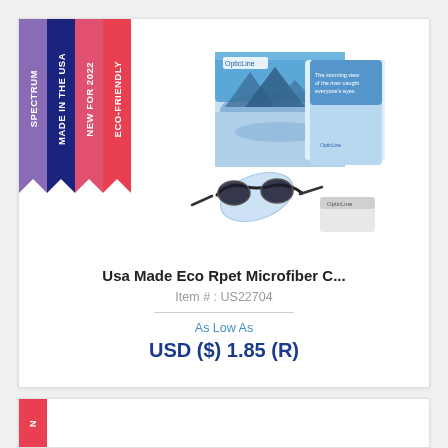[Figure (photo): Microfiber cleaning cloths - square printed cloths with landscape photo and sunglasses being cleaned]
Usa Made Eco Rpet Microfiber C...
Item # : US22704
As Low As
USD ($) 1.85 (R)